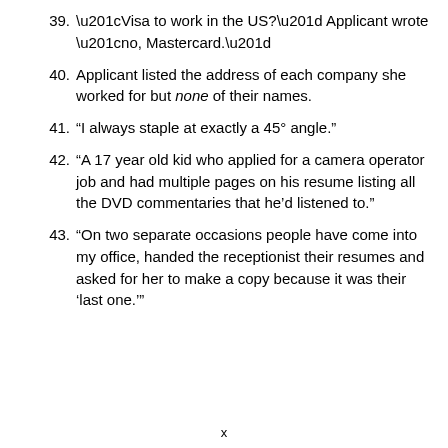39. “Visa to work in the US?” Applicant wrote “no, Mastercard.”
40. Applicant listed the address of each company she worked for but none of their names.
41. “I always staple at exactly a 45° angle.”
42. “A 17 year old kid who applied for a camera operator job and had multiple pages on his resume listing all the DVD commentaries that he’d listened to.”
43. “On two separate occasions people have come into my office, handed the receptionist their resumes and asked for her to make a copy because it was their ‘last one.’”
x